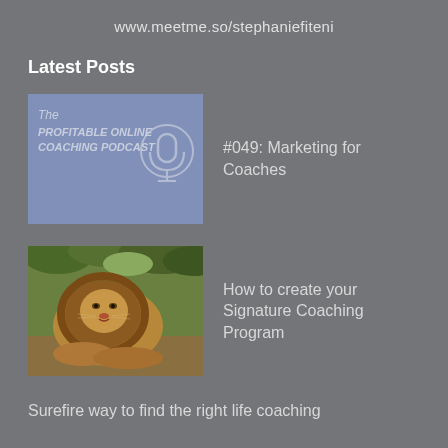www.meetme.so/stephaniefiteni
Latest Posts
[Figure (illustration): Podcast thumbnail: blue-purple background with text 'The PROFITABLE ONLINE COACHING PODCAST' and a microphone icon]
#049: Marketing for Coaches
[Figure (photo): Photo of a lion resting, looking toward camera, with green foliage in background]
How to create your Signature Coaching Program
Surefire way to find the right life coaching